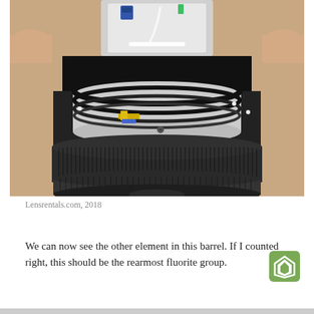[Figure (photo): Close-up photograph of camera lens being disassembled by hands, showing internal barrel mechanics, ribbon cables, and focusing ring with teeth. The top portion of the lens is being lifted off revealing the internal optical elements and circuit components.]
Lensrentals.com, 2018
We can now see the other element in this barrel. If I counted right, this should be the rearmost fluorite group.